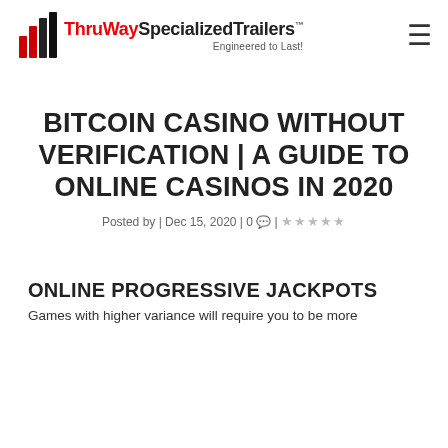ThruWay Specialized Trailers™ — Engineered to Last!
BITCOIN CASINO WITHOUT VERIFICATION | A GUIDE TO ONLINE CASINOS IN 2020
Posted by | Dec 15, 2020 | 0 💬 | ☆☆☆☆☆
ONLINE PROGRESSIVE JACKPOTS
Games with higher variance will require you to be more